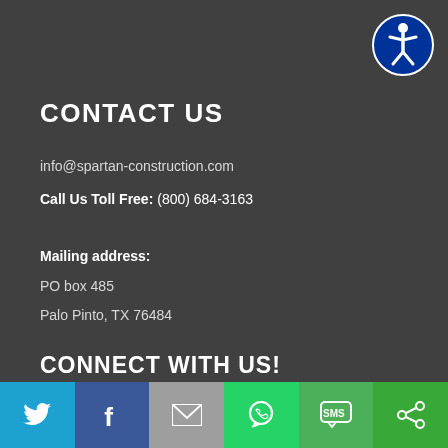[Figure (logo): Accessibility icon: blue circle with white stick figure person]
CONTACT US
info@spartan-construction.com
Call Us Toll Free: (800) 684-3163
Mailing address:
PO box 485
Palo Pinto, TX 76484
CONNECT WITH US!
[Figure (logo): Facebook red square icon with white f]
[Figure (logo): LinkedIn red square icon with white in]
Social share bar: Twitter, Facebook, Email, WhatsApp, SMS, Share icons